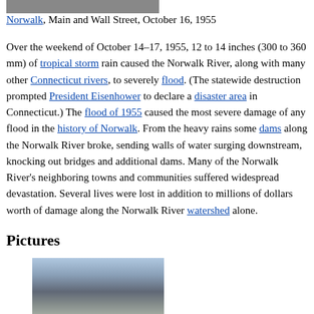[Figure (photo): Partial top edge of a black-and-white photograph showing flood damage in Norwalk]
Norwalk, Main and Wall Street, October 16, 1955
Over the weekend of October 14–17, 1955, 12 to 14 inches (300 to 360 mm) of tropical storm rain caused the Norwalk River, along with many other Connecticut rivers, to severely flood. (The statewide destruction prompted President Eisenhower to declare a disaster area in Connecticut.) The flood of 1955 caused the most severe damage of any flood in the history of Norwalk. From the heavy rains some dams along the Norwalk River broke, sending walls of water surging downstream, knocking out bridges and additional dams. Many of the Norwalk River's neighboring towns and communities suffered widespread devastation. Several lives were lost in addition to millions of dollars worth of damage along the Norwalk River watershed alone.
Pictures
[Figure (photo): Photograph of a bridge over a river, likely in Norwalk, Connecticut, showing infrastructure related to the 1955 flood area]